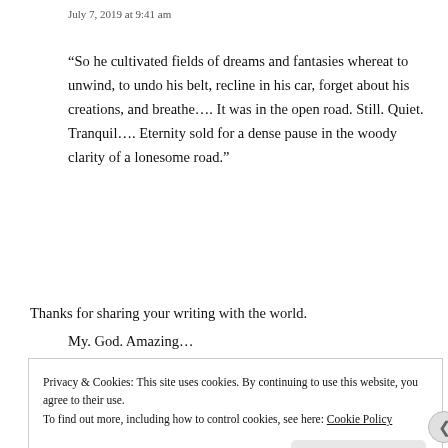July 7, 2019 at 9:41 am
“So he cultivated fields of dreams and fantasies whereat to unwind, to undo his belt, recline in his car, forget about his creations, and breathe…. It was in the open road. Still. Quiet. Tranquil…. Eternity sold for a dense pause in the woody clarity of a lonesome road.”
My. God. Amazing…
so grateful to have found your site. 🙏🙏🙏
Thanks for sharing your writing with the world.
Privacy & Cookies: This site uses cookies. By continuing to use this website, you agree to their use.
To find out more, including how to control cookies, see here: Cookie Policy